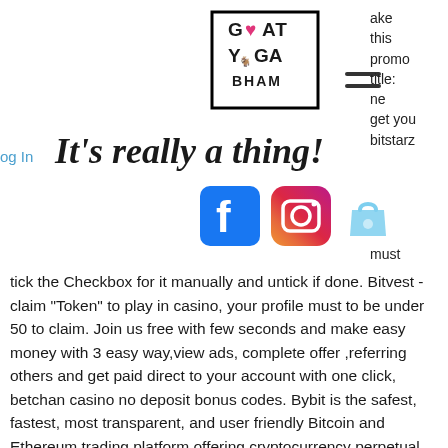[Figure (logo): Goat Yoga Bham logo — squared border with text GOAT YOGA BHAM and goat head with heart icon]
[Figure (other): Hamburger menu icon (two horizontal lines)]
ake this promo title: ne get you bitstarz
og In
It's really a thing!
[Figure (other): Facebook icon (blue rounded square with white f), Instagram icon (colorful gradient camera), shopping bag icon (light blue)]
must
tick the Checkbox for it manually and untick if done. Bitvest - claim "Token" to play in casino, your profile must to be under 50 to claim. Join us free with few seconds and make easy money with 3 easy way,view ads, complete offer ,referring others and get paid direct to your account with one click, betchan casino no deposit bonus codes. Bybit is the safest, fastest, most transparent, and user friendly Bitcoin and Ethereum trading platform offering cryptocurrency perpetual contracts and faucet.